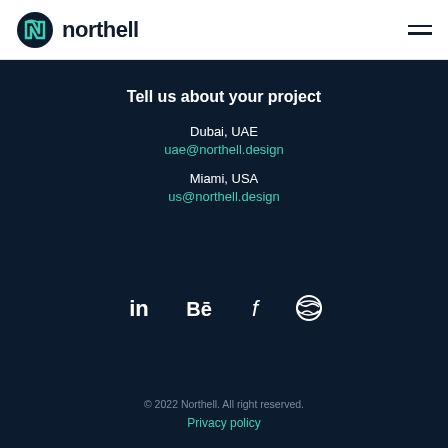[Figure (logo): Northell logo with teal N icon and dark text 'northell']
Tell us about your project
Dubai, UAE
uae@northell.design
Miami, USA
us@northell.design
[Figure (infographic): Social media icons: LinkedIn, Behance, Facebook, Dribbble]
© 2022 Northell. All right reserved.
Privacy policy